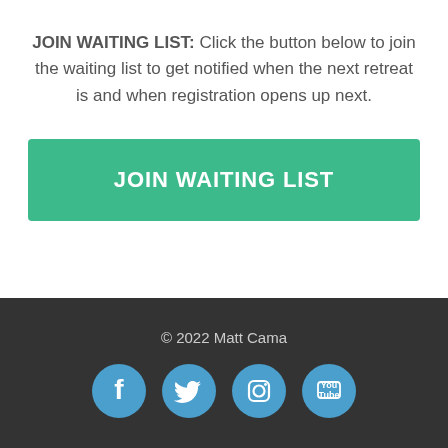JOIN WAITING LIST: Click the button below to join the waiting list to get notified when the next retreat is and when registration opens up next.
[Figure (other): Teal button labeled JOIN WAITING LIST]
© 2022 Matt Cama
[Figure (other): Social media icons: Facebook, Twitter, Instagram, YouTube]